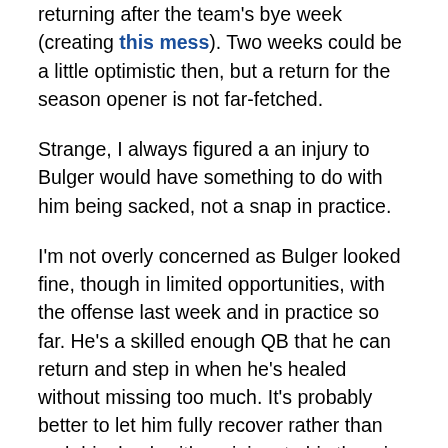returning after the team's bye week (creating this mess). Two weeks could be a little optimistic then, but a return for the season opener is not far-fetched.
Strange, I always figured a an injury to Bulger would have something to do with him being sacked, not a snap in practice.
I'm not overly concerned as Bulger looked fine, though in limited opportunities, with the offense last week and in practice so far. He's a skilled enough QB that he can return and step in when he's healed without missing too much. It's probably better to let him fully recover rather than rush him back with an injury to his throwing hand.